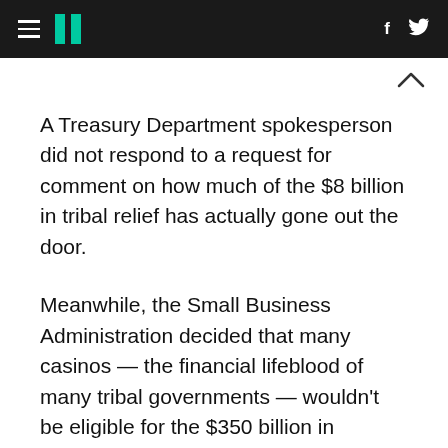HuffPost navigation header with hamburger menu, logo, facebook and twitter icons
A Treasury Department spokesperson did not respond to a request for comment on how much of the $8 billion in tribal relief has actually gone out the door.
Meanwhile, the Small Business Administration decided that many casinos — the financial lifeblood of many tribal governments — wouldn't be eligible for the $350 billion in emergency payroll relief provided by CARES Act, despite outcry from tribes and lawmakers who said it was never the intent of the bill to exclude them from